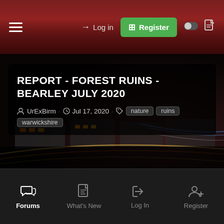Navigation bar with hamburger menu, Log in, Register, toggle and document icons
REPORT - FOREST RUINS - BEARLEY JULY 2020
UrExBirm · Jul 17, 2020 · nature ruins warwickshire
[Figure (photo): Background image of trains with light trails at night, dark red tones]
Forums | What's New | Log In | Register